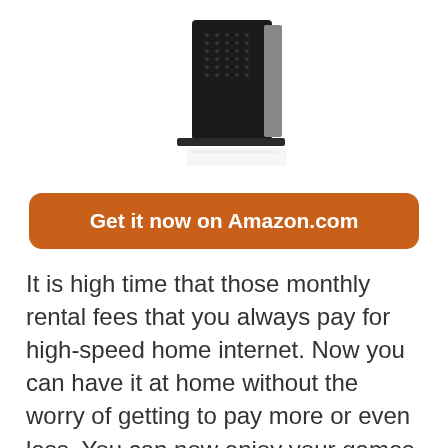[Figure (photo): A black cable modem/router device shown from the front-right angle, partially cropped at top]
Get it now on Amazon.com
It is high time that those monthly rental fees that you always pay for high-speed home internet. Now you can have it at home without the worry of getting to pay more or even less. You can now enjoy your games or even stream your movies in 4K. Your internet won't slow down but keep it at a constant moving speed to keep you on the watch or game at all times. It's a modem